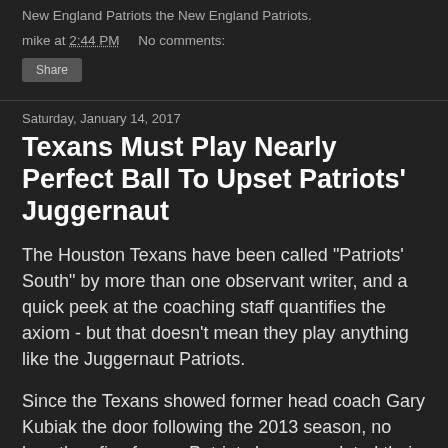New England Patriots the New England Patriots.
mike at 2:44 PM    No comments:
Share
Saturday, January 14, 2017
Texans Must Play Nearly Perfect Ball To Upset Patriots' Juggernaut
The Houston Texans have been called "Patriots' South" by more than one observant writer, and a quick peek at the coaching staff quantifies the axiom - but that doesn't mean they play anything like the Juggernaut Patriots.
Since the Texans showed former head coach Gary Kubiak the door following the 2013 season, no less than five former Patriots have populated their coaching ranks, starting with the hire of former New England offensive coordinator Bill O'Brien as their head coach - the caustic O'Brien bringing in former Patriots' defensive coordinator Romeo Crennell and